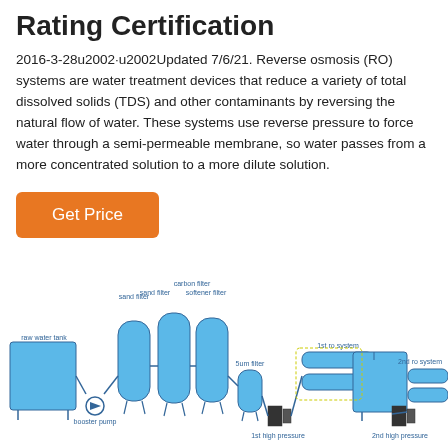Rating Certification
2016-3-28u2002·u2002Updated 7/6/21. Reverse osmosis (RO) systems are water treatment devices that reduce a variety of total dissolved solids (TDS) and other contaminants by reversing the natural flow of water. These systems use reverse pressure to force water through a semi-permeable membrane, so water passes from a more concentrated solution to a more dilute solution.
[Figure (schematic): Diagram of a reverse osmosis water treatment system showing: raw water tank, booster pump, sand filter, carbon filter, softener filter, 5um filter, 1st high pressure pump, 1st RO system, water tank, 2nd high pressure pump, 2nd RO system — connected in sequence with pipes.]